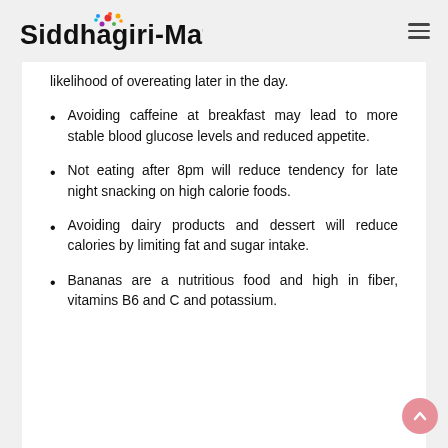Siddhagiri-Math
likelihood of overeating later in the day.
Avoiding caffeine at breakfast may lead to more stable blood glucose levels and reduced appetite.
Not eating after 8pm will reduce tendency for late night snacking on high calorie foods.
Avoiding dairy products and dessert will reduce calories by limiting fat and sugar intake.
Bananas are a nutritious food and high in fiber, vitamins B6 and C and potassium.